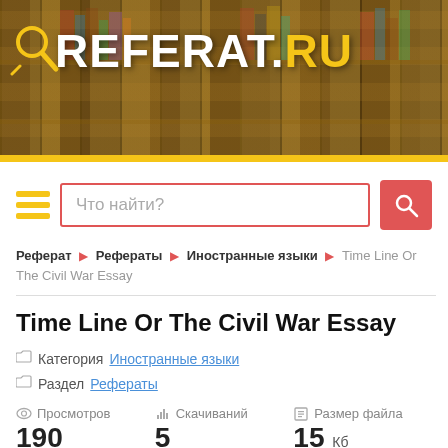[Figure (illustration): Library bookshelf banner with REFERAT.RU logo and magnifying glass icon]
Что найти?
Реферат ▶ Рефераты ▶ Иностранные языки ▶ Time Line Or The Civil War Essay
Time Line Or The Civil War Essay
Категория Иностранные языки
Раздел Рефераты
Просмотров 190
Скачиваний 5
Размер файла 15 Кб
Скачать